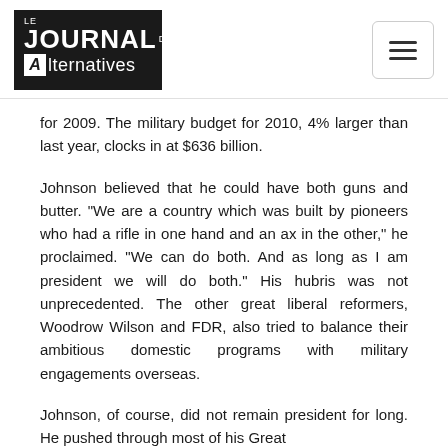Le Journal des Alternatives
for 2009. The military budget for 2010, 4% larger than last year, clocks in at $636 billion.
Johnson believed that he could have both guns and butter. "We are a country which was built by pioneers who had a rifle in one hand and an ax in the other," he proclaimed. "We can do both. And as long as I am president we will do both." His hubris was not unprecedented. The other great liberal reformers, Woodrow Wilson and FDR, also tried to balance their ambitious domestic programs with military engagements overseas.
Johnson, of course, did not remain president for long. He pushed through most of his Great